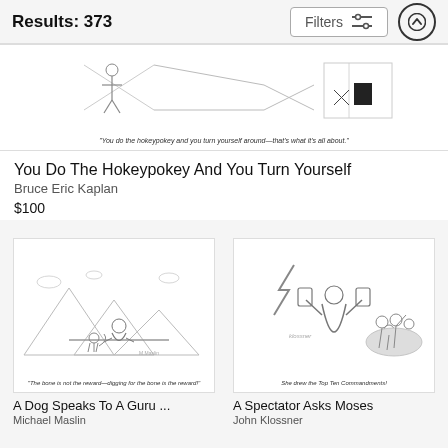Results: 373
[Figure (illustration): New Yorker cartoon showing line art figures with caption: "You do the hokeypokey and you turn yourself around—that's what it's all about."]
"You do the hokeypokey and you turn yourself around—that's what it's all about."
You Do The Hokeypokey And You Turn Yourself
Bruce Eric Kaplan
$100
[Figure (illustration): New Yorker cartoon showing a dog speaking to a guru on a mountain with caption: "The bone is not the reward—digging for the bone is the reward!"]
"The bone is not the reward—digging for the bone is the reward!"
A Dog Speaks To A Guru ...
Michael Maslin
[Figure (illustration): New Yorker cartoon showing a spectator asking Moses with caption: "She drew the Top Ten Commandments!"]
She drew the Top Ten Commandments!
A Spectator Asks Moses
John Klossner